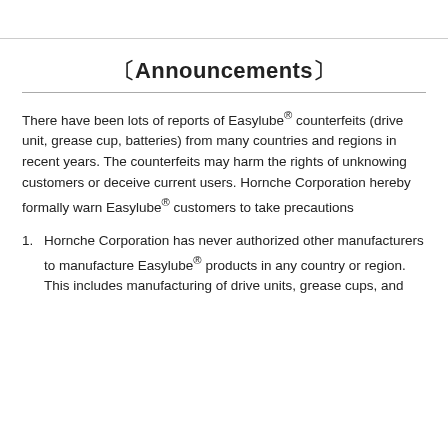〔Announcements〕
There have been lots of reports of Easylube® counterfeits (drive unit, grease cup, batteries) from many countries and regions in recent years. The counterfeits may harm the rights of unknowing customers or deceive current users. Hornche Corporation hereby formally warn Easylube® customers to take precautions
Hornche Corporation has never authorized other manufacturers to manufacture Easylube® products in any country or region. This includes manufacturing of drive units, grease cups, and